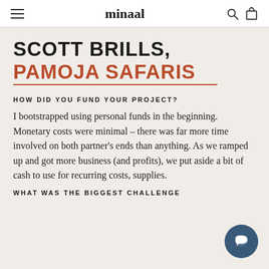minaal
SCOTT BRILLS, PAMOJA SAFARIS
HOW DID YOU FUND YOUR PROJECT?
I bootstrapped using personal funds in the beginning. Monetary costs were minimal – there was far more time involved on both partner's ends than anything. As we ramped up and got more business (and profits), we put aside a bit of cash to use for recurring costs, supplies.
WHAT WAS THE BIGGEST CHALLENGE